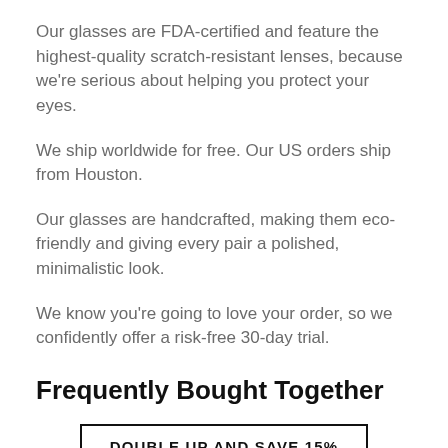Our glasses are FDA-certified and feature the highest-quality scratch-resistant lenses, because we're serious about helping you protect your eyes.
We ship worldwide for free. Our US orders ship from Houston.
Our glasses are handcrafted, making them eco-friendly and giving every pair a polished, minimalistic look.
We know you're going to love your order, so we confidently offer a risk-free 30-day trial.
Frequently Bought Together
DOUBLE UP AND SAVE 15%